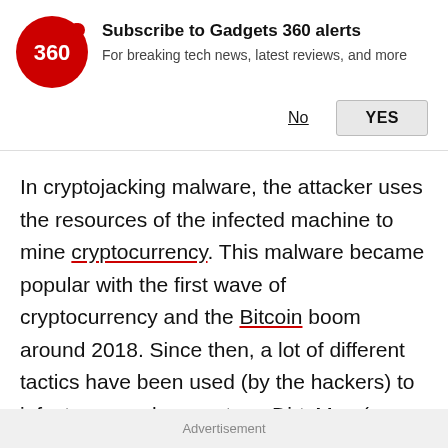[Figure (logo): Gadgets 360 red circle logo with '360' text and a red dot]
Subscribe to Gadgets 360 alerts
For breaking tech news, latest reviews, and more
No   YES
In cryptojacking malware, the attacker uses the resources of the infected machine to mine cryptocurrency. This malware became popular with the first wave of cryptocurrency and the Bitcoin boom around 2018. Since then, a lot of different tactics have been used (by the hackers) to infect personal computers. DirtyMoe (a Windows botnet) using known system vulnerabilities is an example of this.
Advertisement